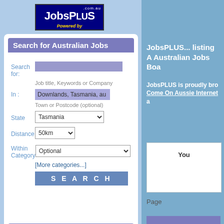[Figure (logo): JobsPlus.com.au logo with colored bar and 'Powered by' text on dark blue background]
Search for Australian Jobs
Search for:
Job title, Keywords or Company
In :
Downlands, Tasmania, au
Town or Postcode (optional)
State
Tasmania
Distance
50km
Within Category
Optional
[More categories...]
S E A R C H
Sponsored Links
JobsPLUS... listing A Australian Jobs Boa
JobsPLUS is proudly bro Come On Aussie Internet a
You
Page